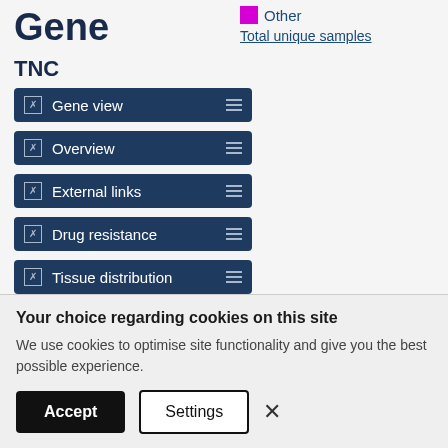Other
Total unique samples
Gene
TNC
Gene view
Overview
External links
Drug resistance
Tissue distribution
Genome browser
Mutation distribution
Deletions
This histogram shows the di...
Your choice regarding cookies on this site
We use cookies to optimise site functionality and give you the best possible experience.
Accept  Settings  ×